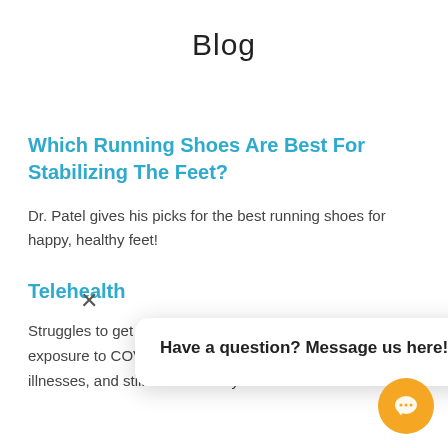Blog
Which Running Shoes Are Best For Stabilizing The Feet?
Dr. Patel gives his picks for the best running shoes for happy, healthy feet!
Telehealth
Struggles to get to the clinic? Trying to reduce your exposure to COVID-19, as well as other contagious illnesses, and still need to see your doctor? Telehealth is
Have a question? Message us here!